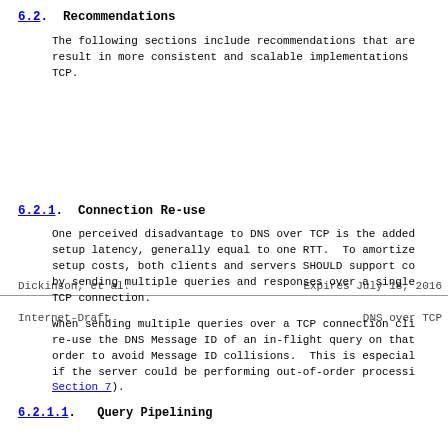6.2.  Recommendations
The following sections include recommendations that are result in more consistent and scalable implementations TCP.
Dickinson, et al.          Expires July 18, 2016
Internet-Draft                    DNS over TCP
6.2.1.  Connection Re-use
One perceived disadvantage to DNS over TCP is the added setup latency, generally equal to one RTT.  To amortize setup costs, both clients and servers SHOULD support co by sending multiple queries and responses over a single TCP connection.
When sending multiple queries over a TCP connection cli re-use the DNS Message ID of an in-flight query on that order to avoid Message ID collisions.  This is especial if the server could be performing out-of-order processi Section 7).
6.2.1.1.   Query Pipelining